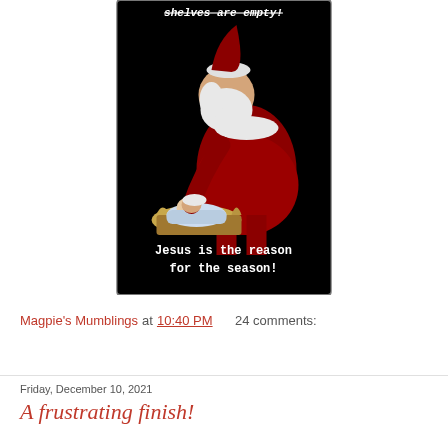[Figure (illustration): Black background image showing Santa Claus kneeling before the baby Jesus in a manger, with text at top (partially visible, struck-through italic): 'shelves are empty!' and text at bottom: 'Jesus is the reason for the season!']
Magpie's Mumblings at 10:40 PM    24 comments:
Friday, December 10, 2021
A frustrating finish!